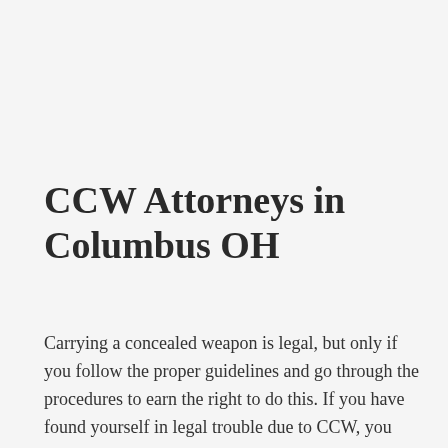CCW Attorneys in Columbus OH
Carrying a concealed weapon is legal, but only if you follow the proper guidelines and go through the procedures to earn the right to do this. If you have found yourself in legal trouble due to CCW, you need to get in touch with a lawyer as soon as possible, and that is exactly where Sabol Mallory LLC can help you. Our legal team understands that Ohio citizens do not want to